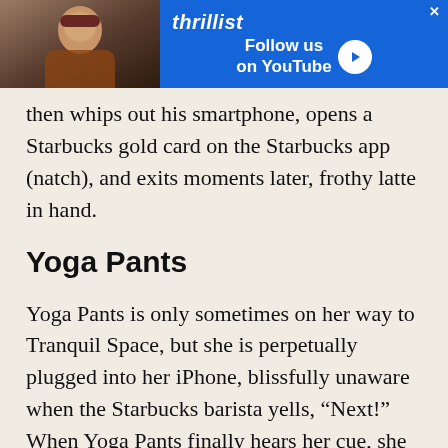[Figure (other): Thrillist advertisement banner with photo of person and 'Follow us on YouTube' call to action on blue background]
then whips out his smartphone, opens a Starbucks gold card on the Starbucks app (natch), and exits moments later, frothy latte in hand.
Yoga Pants
Yoga Pants is only sometimes on her way to Tranquil Space, but she is perpetually plugged into her iPhone, blissfully unaware when the Starbucks barista yells, “Next!” When Yoga Pants finally hears her cue, she saunters over to the counter, smiles her faux-namaste smile, removes only one earbud, and orders a grande skinny soy chai faster than she can downward dog.